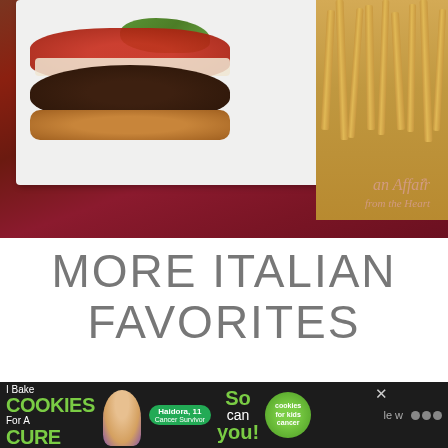[Figure (photo): Close-up photo of an Italian burger with tomato sauce, mozzarella cheese, lettuce, on a white plate with french fries, on a dark red wooden table. Watermark reads 'an Affair from the Heart' in pink script.]
MORE ITALIAN FAVORITES
If you are a big fan of all things Italian food – you
[Figure (screenshot): Advertisement banner at bottom: 'I Bake COOKIES For A CURE' with image of child named Haidora, 11 Cancer Survivor, and text 'So can you!' with cookies for kids cancer logo. Close button (x) visible. Dark background.]